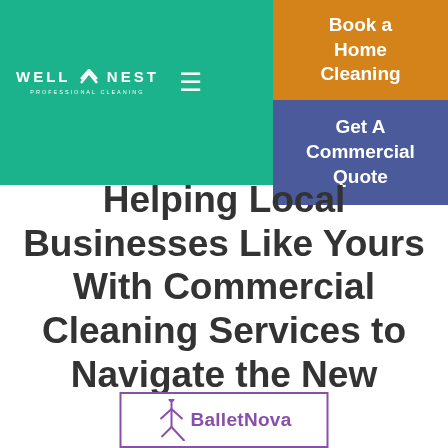[Figure (logo): WellNest Professional Cleaning logo — white text on green background with nest/chevron icon]
Book a Home Cleaning
Get A Commercial Quote
Helping Local Businesses Like Yours With Commercial Cleaning Services to Navigate the New Normal
[Figure (logo): BalletNova logo with purple ballet dancer icon and purple text on white background with purple border]